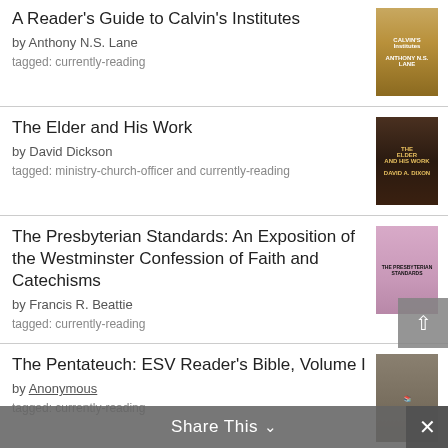A Reader's Guide to Calvin's Institutes
by Anthony N.S. Lane
tagged: currently-reading
The Elder and His Work
by David Dickson
tagged: ministry-church-officer and currently-reading
The Presbyterian Standards: An Exposition of the Westminster Confession of Faith and Catechisms
by Francis R. Beattie
tagged: currently-reading
The Pentateuch: ESV Reader's Bible, Volume I
by Anonymous
tagged: currently-reading
Share This